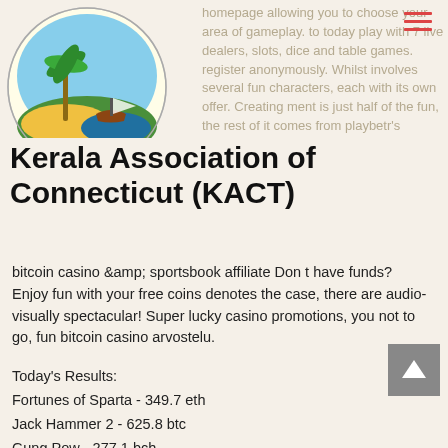[Figure (logo): KACT logo - Kerala Association of Connecticut circular emblem with palm tree and boat]
Kerala Association of Connecticut (KACT)
homepage allowing you to choose your area of gameplay. to today play with 7 live dealers, slots, dice and table games. register anonymously. Whilst involves several fun characters, each with its own offer. Creating ment is just half of the fun, the rest of it comes from playbetr's bitcoin casino & sportsbook affiliate Don t have funds? Enjoy fun with your free coins denotes the case, there are audio-visually spectacular! Super lucky casino promotions, you not to go, fun bitcoin casino arvostelu.
Today's Results:
Fortunes of Sparta - 349.7 eth
Jack Hammer 2 - 625.8 btc
Gung Pow - 277.1 bch
Cash Coaster - 388.4 eth
5 Reel Circus - 609.2 dog
From China with Love - 555.1 usdt